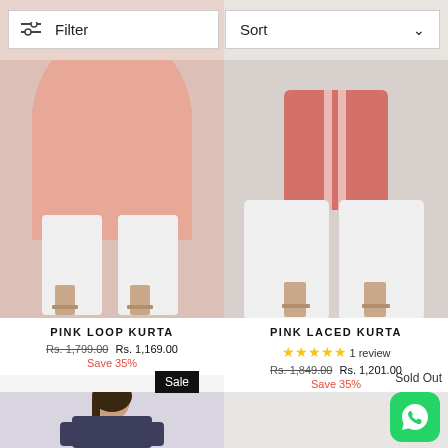[Figure (screenshot): Filter and Sort buttons UI bar]
[Figure (photo): Pink Loop Kurta product photo - lower half of model wearing pink kurta with white palazzo pants]
[Figure (photo): Pink Laced Kurta product photo - lower half of model wearing pink top with white wide-leg pants]
PINK LOOP KURTA
Rs. 1,799.00 Rs. 1,169.00 Save 35%
PINK LACED KURTA
★★★★★ 1 review
Rs. 1,849.00 Rs. 1,201.00 Save 35%
Sale
Sold Out
[Figure (photo): Model wearing a navy blue kurti, half visible at bottom of page]
[Figure (logo): WhatsApp contact button (green rounded square with WhatsApp icon)]